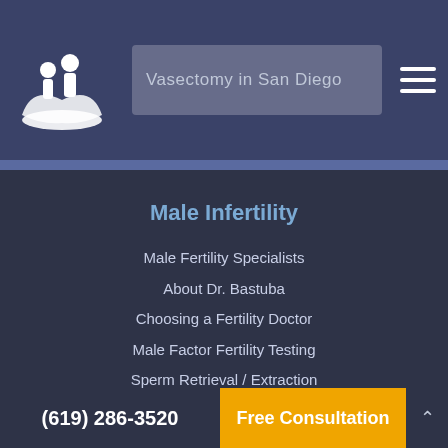[Figure (logo): White stylized figure/logo with two people on a leaf/lotus shape, website logo for Male Fertility Specialists]
Vasectomy in San Diego
Male Infertility
Male Fertility Specialists
About Dr. Bastuba
Choosing a Fertility Doctor
Male Factor Fertility Testing
Sperm Retrieval / Extraction
Low Sperm Count
No Sperm Count (Azoospermia)
MFS Fertility Blog
(619) 286-3520    Free Consultation